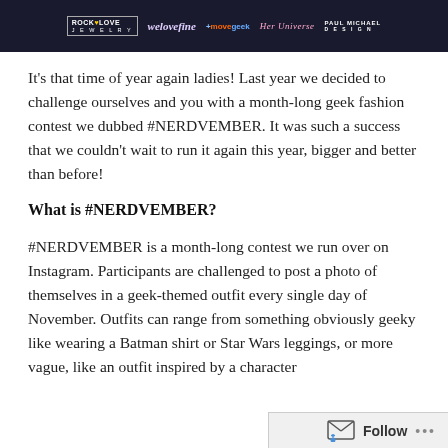[Figure (logo): Banner with logos: RockLove Jewelry, WeLoveFine, MooveGeek, Her Universe, Paul Michael Design on dark background]
It's that time of year again ladies! Last year we decided to challenge ourselves and you with a month-long geek fashion contest we dubbed #NERDVEMBER. It was such a success that we couldn't wait to run it again this year, bigger and better than before!
What is #NERDVEMBER?
#NERDVEMBER is a month-long contest we run over on Instagram. Participants are challenged to post a photo of themselves in a geek-themed outfit every single day of November. Outfits can range from something obviously geeky like wearing a Batman shirt or Star Wars leggings, or more vague, like an outfit inspired by a character